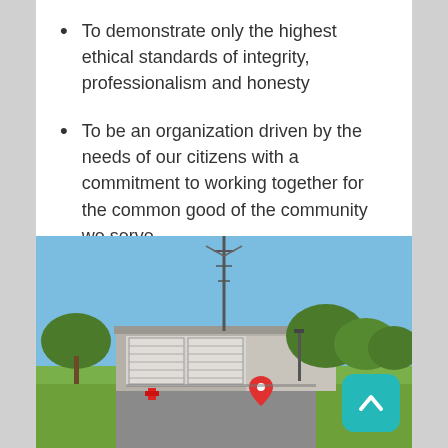To demonstrate only the highest ethical standards of integrity, professionalism and honesty
To be an organization driven by the needs of our citizens with a commitment to working together for the common good of the community we serve
[Figure (photo): Street-level photo of a fire station / municipal building with garage doors, a communications tower, trees, and a red map pin marker. A teal back-to-top button is overlaid in the bottom-right corner.]